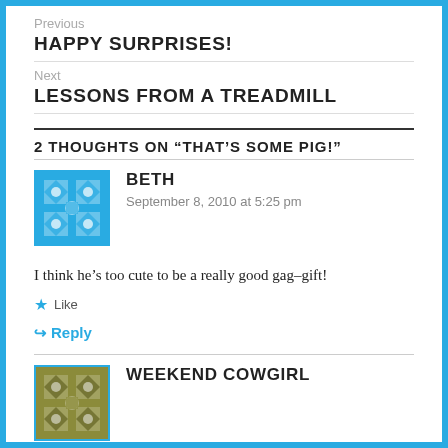Previous
HAPPY SURPRISES!
Next
LESSONS FROM A TREADMILL
2 THOUGHTS ON “THAT’S SOME PIG!”
BETH
September 8, 2010 at 5:25 pm
I think he’s too cute to be a really good gag-gift!
Like
Reply
WEEKEND COWGIRL